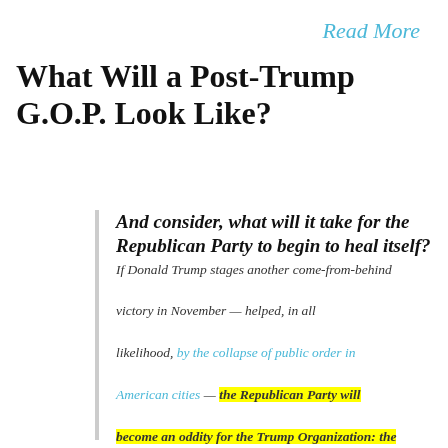Read More
What Will a Post-Trump G.O.P. Look Like?
And consider, what will it take for the Republican Party to begin to heal itself? If Donald Trump stages another come-from-behind victory in November — helped, in all likelihood, by the collapse of public order in American cities — the Republican Party will become an oddity for the Trump Organization: the